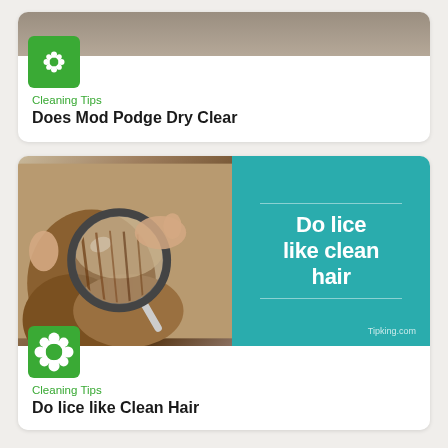[Figure (photo): Top card photo strip showing a partial image]
[Figure (logo): Green flower icon badge for Cleaning Tips category]
Cleaning Tips
Does Mod Podge Dry Clear
[Figure (photo): Featured card: left half shows person examining hair with magnifying glass; right half is teal panel with text 'Do lice like clean hair' and Tipking.com watermark]
[Figure (logo): Green flower icon badge for Cleaning Tips category on second card]
Cleaning Tips
Do lice like Clean Hair